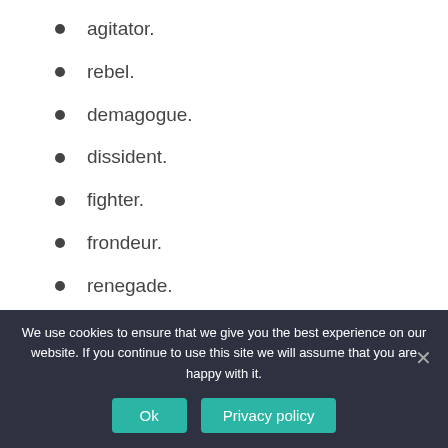agitator.
rebel.
demagogue.
dissident.
fighter.
frondeur.
renegade.
sparkplug.
We use cookies to ensure that we give you the best experience on our website. If you continue to use this site we will assume that you are happy with it.
Ok
Privacy policy